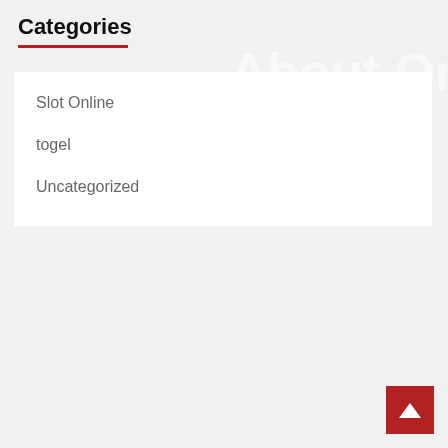Categories
Slot Online
togel
Uncategorized
You may have missed
[Figure (photo): Left placeholder image (gray rectangle)]
[Figure (photo): Right placeholder image (gray rectangle)]